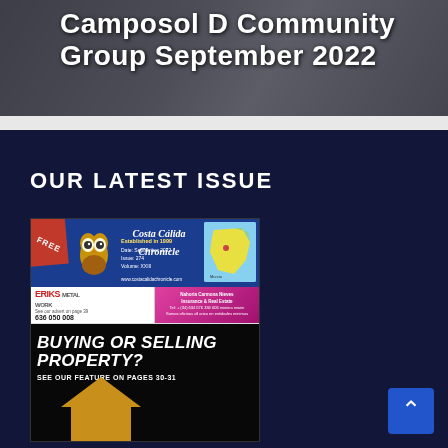Camposol D Community Group September 2022
OUR LATEST ISSUE
[Figure (illustration): Magazine cover of Costa Cálida Chronicle, September 2022, Issue 274, Volume XXIII. Shows owl mascot, map, advertisements for ERIKS Metal Work and Liberty, and headline 'BUYING OR SELLING PROPERTY? SEE OUR FEATURE ON PAGES 30-31']
[Figure (other): Scroll-to-top button (blue square with upward arrow) in bottom-right corner]